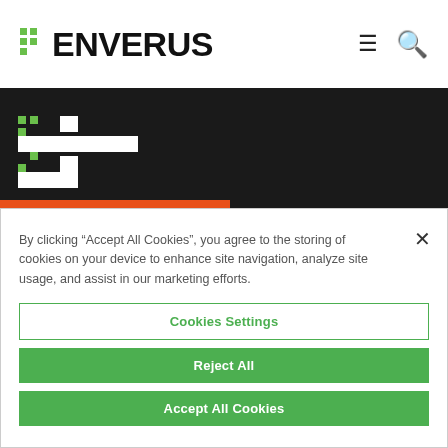[Figure (logo): Enverus logo with green pixel icon and bold black text 'ENVERUS']
[Figure (screenshot): Dark hero banner section with white Enverus logo mark on dark background]
By clicking “Accept All Cookies”, you agree to the storing of cookies on your device to enhance site navigation, analyze site usage, and assist in our marketing efforts.
Cookies Settings
Reject All
Accept All Cookies